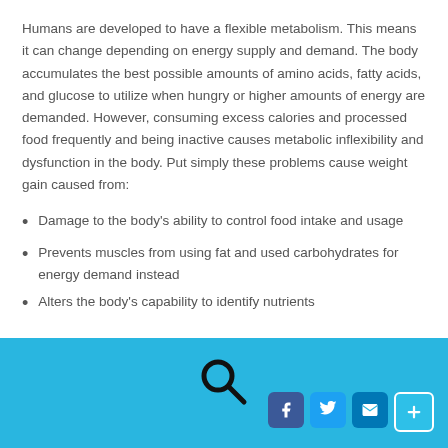Humans are developed to have a flexible metabolism. This means it can change depending on energy supply and demand. The body accumulates the best possible amounts of amino acids, fatty acids, and glucose to utilize when hungry or higher amounts of energy are demanded. However, consuming excess calories and processed food frequently and being inactive causes metabolic inflexibility and dysfunction in the body. Put simply these problems cause weight gain caused from:
Damage to the body's ability to control food intake and usage
Prevents muscles from using fat and used carbohydrates for energy demand instead
Alters the body's capability to identify nutrients
[Figure (other): Blue footer bar with a search icon in the center and social media buttons (Facebook, Twitter, Email, Plus) in the bottom right corner]